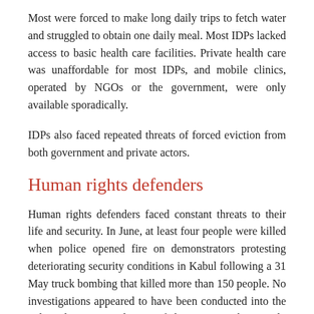Most were forced to make long daily trips to fetch water and struggled to obtain one daily meal. Most IDPs lacked access to basic health care facilities. Private health care was unaffordable for most IDPs, and mobile clinics, operated by NGOs or the government, were only available sporadically.
IDPs also faced repeated threats of forced eviction from both government and private actors.
Human rights defenders
Human rights defenders faced constant threats to their life and security. In June, at least four people were killed when police opened fire on demonstrators protesting deteriorating security conditions in Kabul following a 31 May truck bombing that killed more than 150 people. No investigations appeared to have been conducted into the police shootings. Relatives of the victims subsequently staged a sit-in for several weeks in Kabul, which the police broke up by force. One